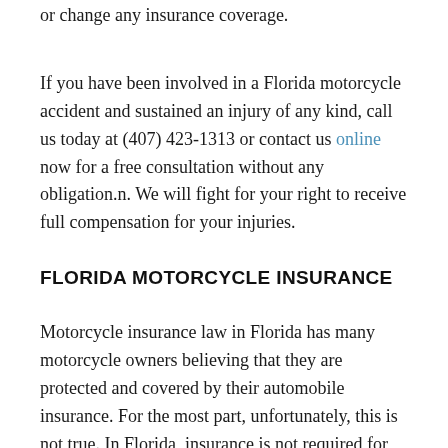or change any insurance coverage.
If you have been involved in a Florida motorcycle accident and sustained an injury of any kind, call us today at (407) 423-1313 or contact us online now for a free consultation without any obligation.n. We will fight for your right to receive full compensation for your injuries.
FLORIDA MOTORCYCLE INSURANCE
Motorcycle insurance law in Florida has many motorcycle owners believing that they are protected and covered by their automobile insurance. For the most part, unfortunately, this is not true. In Florida, insurance is not required for the owner and rider of a motorcycle (other than the insurance required by the helmet law mentioned above). Automobile insurance